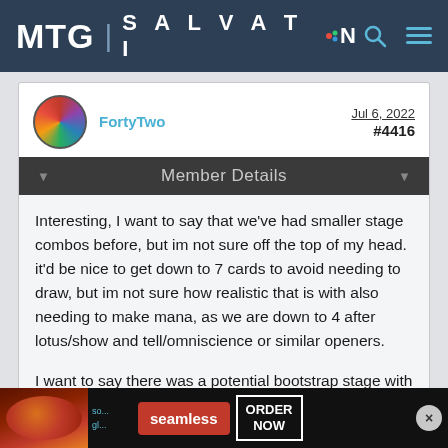MTG | SALVATION
FortyTwo
Jul 6, 2022
#4416
Member Details
Interesting, I want to say that we've had smaller stage combos before, but im not sure off the top of my head. it'd be nice to get down to 7 cards to avoid needing to draw, but im not sure how realistic that is with also needing to make mana, as we are down to 4 after lotus/show and tell/omniscience or similar openers.
I want to say there was a potential bootstrap stage with drake familiar but can't remember.
[Figure (screenshot): Seamless food delivery advertisement banner at bottom of page]